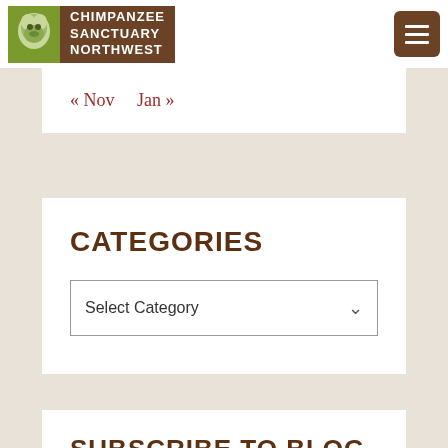Chimpanzee Sanctuary Northwest
« Nov   Jan »
CATEGORIES
Select Category
SUBSCRIBE TO BLOG